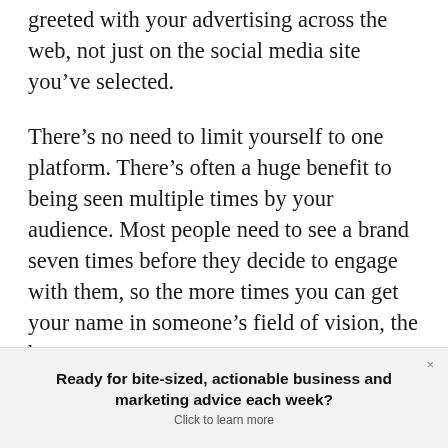greeted with your advertising across the web, not just on the social media site you've selected.
There's no need to limit yourself to one platform. There's often a huge benefit to being seen multiple times by your audience. Most people need to see a brand seven times before they decide to engage with them, so the more times you can get your name in someone's field of vision, the better.
Ready for bite-sized, actionable business and marketing advice each week? Click to learn more